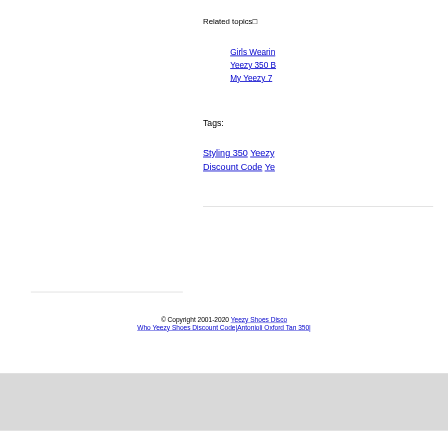Related topics□
Girls Wearing Yeezy 350 B... My Yeezy 7...
Tags:
Styling 350 Yeezy... Discount Code Ye...
© Copyright 2001-2020 Yeezy Shoes Disco... Who Yeezy Shoes Discount Code|Antonioli Oxford Tan 350|...